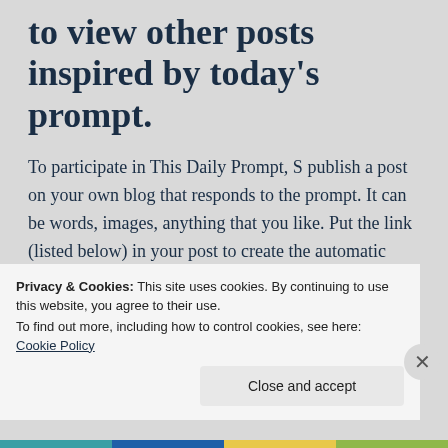to view other posts inspired by today's prompt.
To participate in This Daily Prompt, S publish a post on your own blog that responds to the prompt. It can be words, images, anything that you like. Put the link (listed below) in your post to create the automatic pingback. You can leave a link to your post in the comments if you wish.
Thank you and happy blogging
Privacy & Cookies: This site uses cookies. By continuing to use this website, you agree to their use.
To find out more, including how to control cookies, see here: Cookie Policy
Close and accept